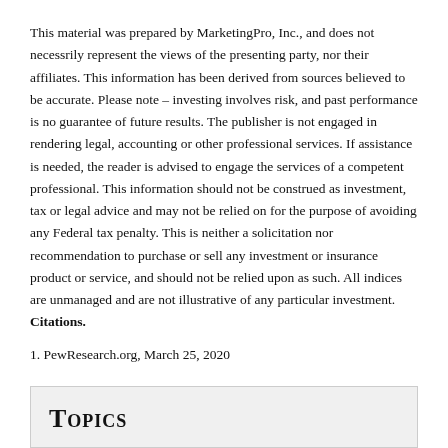This material was prepared by MarketingPro, Inc., and does not necessrily represent the views of the presenting party, nor their affiliates. This information has been derived from sources believed to be accurate. Please note – investing involves risk, and past performance is no guarantee of future results. The publisher is not engaged in rendering legal, accounting or other professional services. If assistance is needed, the reader is advised to engage the services of a competent professional. This information should not be construed as investment, tax or legal advice and may not be relied on for the purpose of avoiding any Federal tax penalty. This is neither a solicitation nor recommendation to purchase or sell any investment or insurance product or service, and should not be relied upon as such. All indices are unmanaged and are not illustrative of any particular investment. Citations.
1. PewResearch.org, March 25, 2020
Topics